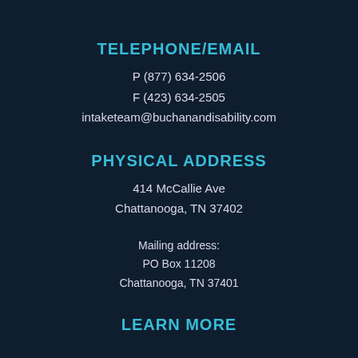TELEPHONE/EMAIL
P (877) 634-2506
F (423) 634-2505
intaketeam@buchanandisability.com
PHYSICAL ADDRESS
414 McCallie Ave
Chattanooga, TN 37402
Mailing address:
PO Box 11208
Chattanooga, TN 37401
LEARN MORE